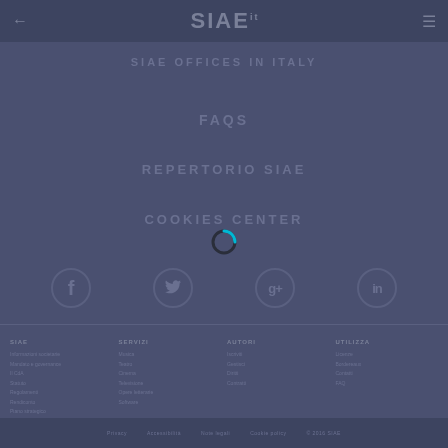SIAE
SIAE OFFICES IN ITALY
FAQS
REPERTORIO SIAE
COOKIES CENTER
[Figure (other): Loading spinner - circular spinner with cyan/dark segments on navy background]
[Figure (other): Social media icons row: Facebook (f), Twitter (bird), Google+ (g+), LinkedIn (in)]
Footer columns with navigation links and copyright information